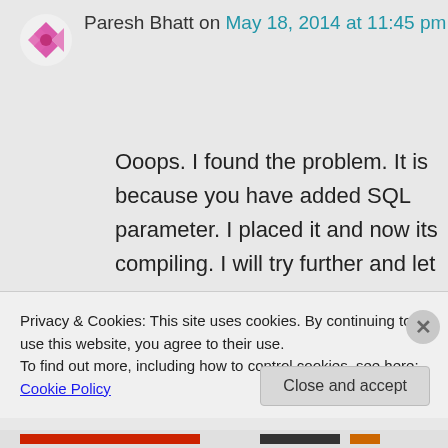Paresh Bhatt on May 18, 2014 at 11:45 pm
Ooops. I found the problem. It is because you have added SQL parameter. I placed it and now its compiling. I will try further and let you
Privacy & Cookies: This site uses cookies. By continuing to use this website, you agree to their use.
To find out more, including how to control cookies, see here: Cookie Policy